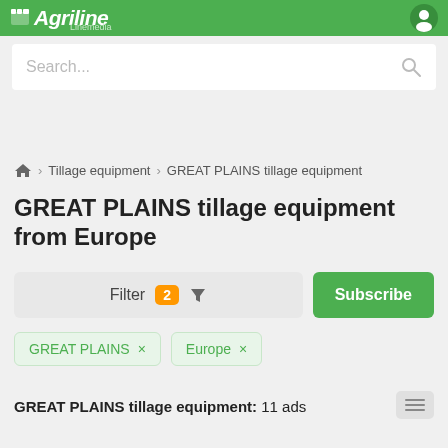Agriline Linemedia
Search...
Tillage equipment > GREAT PLAINS tillage equipment
GREAT PLAINS tillage equipment from Europe
Filter 2
Subscribe
GREAT PLAINS ×
Europe ×
GREAT PLAINS tillage equipment: 11 ads